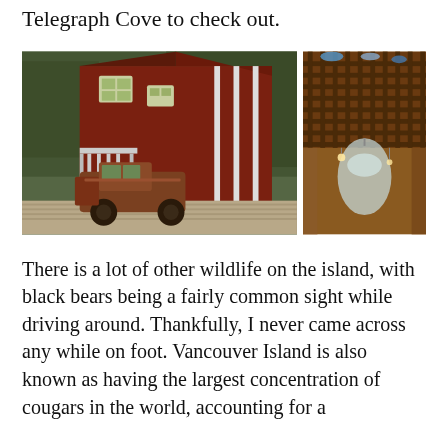Telegraph Cove to check out.
[Figure (photo): Left: Red barn-like building with a rusty old truck parked in front on wooden boardwalk, surrounded by forest. Right: Interior view looking up at a wooden lattice ceiling with hanging decorative objects including a large teardrop-shaped glass piece.]
There is a lot of other wildlife on the island, with black bears being a fairly common sight while driving around. Thankfully, I never came across any while on foot. Vancouver Island is also known as having the largest concentration of cougars in the world, accounting for a